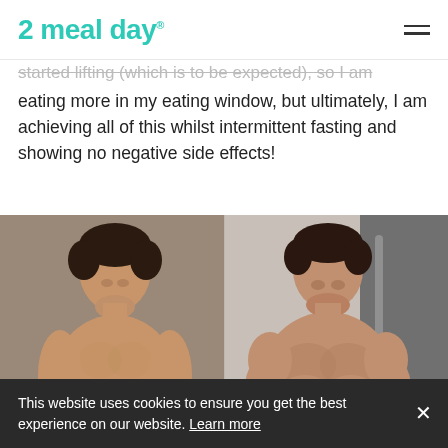2 meal day®
started lifting (which is to be expected), so I am eating more in my eating window, but ultimately, I am achieving all of this whilst intermittent fasting and showing no negative side effects!
[Figure (photo): Before and after comparison photos of a shirtless young man taking mirror selfies with a smartphone. Left photo shows a slimmer physique, right photo shows a more muscular physique.]
This website uses cookies to ensure you get the best experience on our website. Learn more